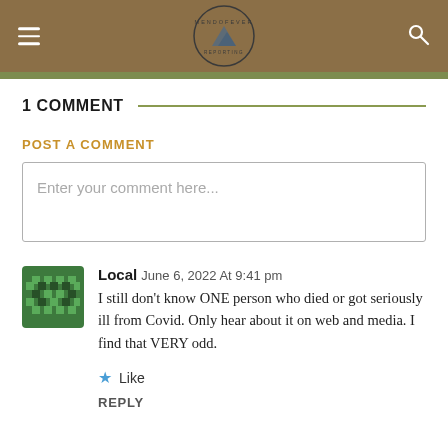MendoFever Reporting (logo, hamburger menu, search icon)
1 COMMENT
POST A COMMENT
Enter your comment here...
Local June 6, 2022 At 9:41 pm
I still don't know ONE person who died or got seriously ill from Covid. Only hear about it on web and media. I find that VERY odd.
Like
REPLY